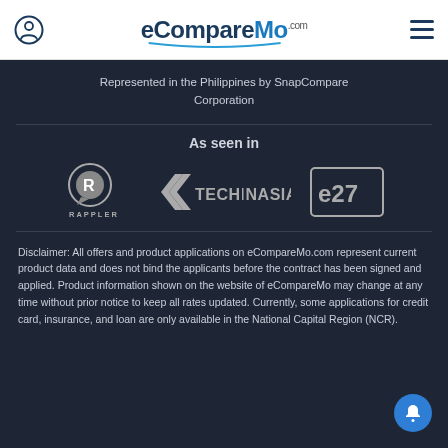eCompareMo.com
Represented in the Philippines by SnapCompare Corporation
As seen in
[Figure (logo): Media logos: Rappler, TechInAsia, e27]
Disclaimer: All offers and product applications on eCompareMo.com represent current product data and does not bind the applicants before the contract has been signed and applied. Product information shown on the website of eCompareMo may change at any time without prior notice to keep all rates updated. Currently, some applications for credit card, insurance, and loan are only available in the National Capital Region (NCR).